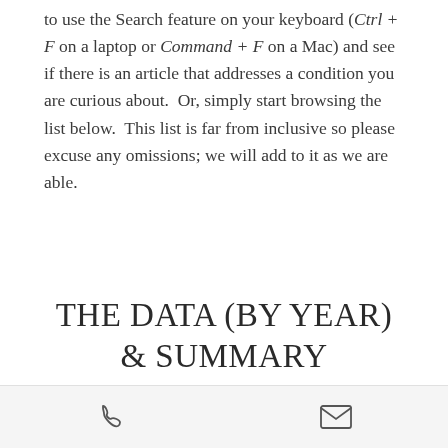to use the Search feature on your keyboard (Ctrl + F on a laptop or Command + F on a Mac) and see if there is an article that addresses a condition you are curious about.  Or, simply start browsing the list below.  This list is far from inclusive so please excuse any omissions; we will add to it as we are able.
THE DATA (BY YEAR) & SUMMARY
2021
Bademoğlu G, Erdal N, Uzun C, Taşdelen B.  The effects of pulsed